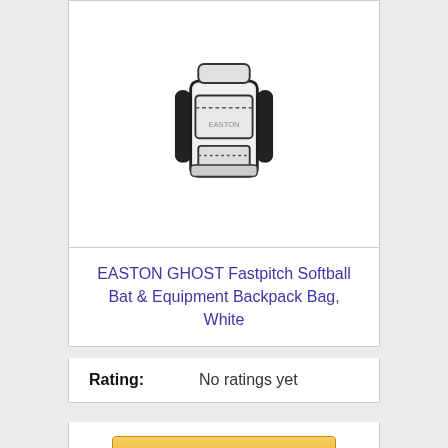[Figure (photo): White sports backpack / equipment bag with black trim, viewed from front, handles visible at top]
EASTON GHOST Fastpitch Softball Bat & Equipment Backpack Bag, White
Rating: No ratings yet
Check on Amazon
Bestseller No. 7
[Figure (photo): Black softball/baseball bat shown at an angle, partially visible]